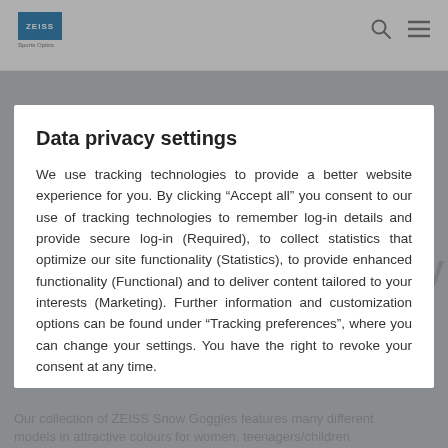ZEISS navigation bar with logo and icons
[Figure (screenshot): Background page with ZEISS Snow Goggles promotional content partially visible behind modal overlay. Text reads: 'The right tint, the ideal mirror coating. For every weather, in any weather.' and 'Our collection of ZEISS Snow Goggles features many different models in attractive colours for women, teenagers/children and men and are available with easy-to-change lenses (ZEISS Interchangeable Goggles). Several types of mirror coatings']
Data privacy settings
We use tracking technologies to provide a better website experience for you. By clicking “Accept all” you consent to our use of tracking technologies to remember log-in details and provide secure log-in (Required), to collect statistics that optimize our site functionality (Statistics), to provide enhanced functionality (Functional) and to deliver content tailored to your interests (Marketing). Further information and customization options can be found under “Tracking preferences”, where you can change your settings. You have the right to revoke your consent at any time.